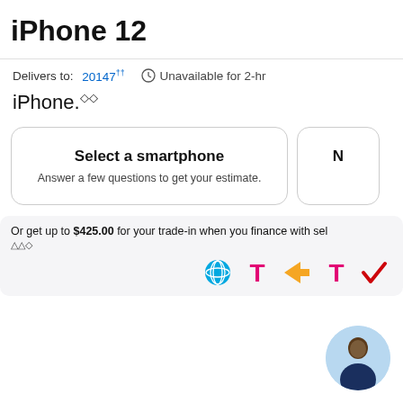iPhone 12
Delivers to: 20147†† Unavailable for 2-hr
iPhone.◇◇
Select a smartphone
Answer a few questions to get your estimate.
Or get up to $425.00 for your trade-in when you finance with sel △△◇
[Figure (logo): Carrier logos: AT&T, T-Mobile, Sprint, T-Mobile, Verizon checkmark]